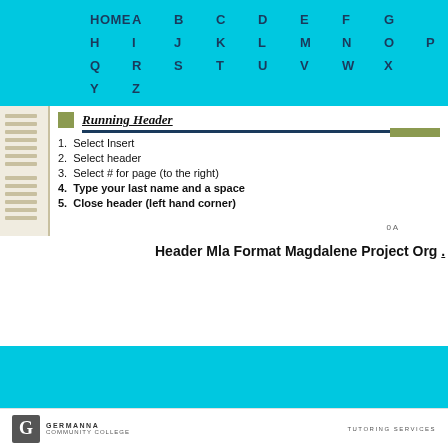HOME  A  B  C  D  E  F  G  H  I  J  K  L  M  N  O  P  Q  R  S  T  U  V  W  X  Y  Z
[Figure (screenshot): Document preview showing Running Header title with underline and numbered list of steps: 1. Select Insert, 2. Select header, 3. Select # for page (to the right), 4. Type your last name and a space, 5. Close header (left hand corner)]
Header Mla Format Magdalene Project Org .
GERMANNA COMMUNITY COLLEGE  TUTORING SERVICES